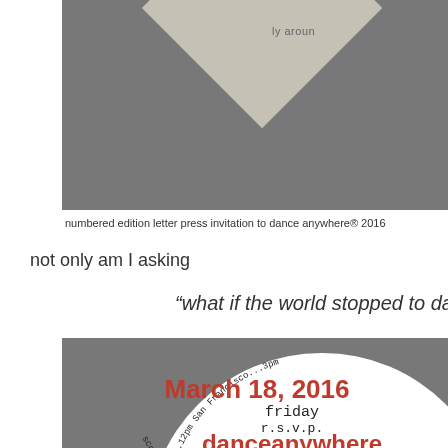[Figure (illustration): Top portion of a letterpress invitation showing a diamond/chevron shape in beige/tan on a grey background with partial text 'ly aroun' visible at top]
numbered edition letter press invitation to dance anywhere® 2016
not only am I asking
“what if the world stopped to dance
[Figure (illustration): Bottom portion of a circular letterpress invitation on grey background showing: curved text 'cow...etc....12pm San Francisco...3pm' along circle edge, center text 'March 18, 2016', 'friday', 'r.s.v.p.', 'danceanywhere' in red and black]